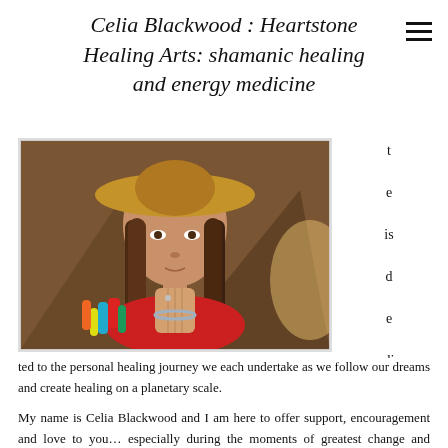Celia Blackwood : Heartstone Healing Arts: shamanic healing and energy medicine
[Figure (photo): A woman with long brown hair wearing a wide-brimmed hat, hands pressed together in prayer position, wearing a red sleeveless top with colorful tassels (teal, red, yellow), set against a warm indoor background.]
ted to the personal healing journey we each undertake as we follow our dreams and create healing on a planetary scale.
My name is Celia Blackwood and I am here to offer support, encouragement and love to you… especially during the moments of greatest change and transition